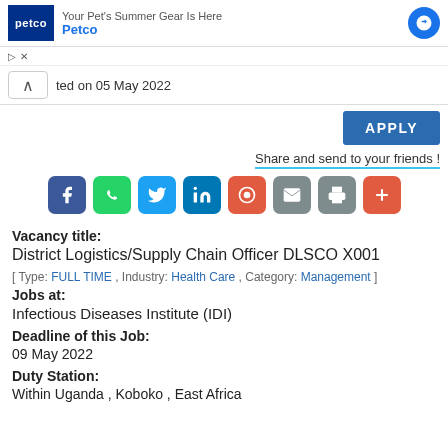[Figure (screenshot): Petco advertisement banner with logo and arrow icon]
ted on 05 May 2022
APPLY
Share and send to your friends !
[Figure (infographic): Social media share icons: Facebook, WhatsApp, Twitter, LinkedIn, Pinterest, Email, Print, More]
Vacancy title:
District Logistics/Supply Chain Officer DLSCO X001
[ Type: FULL TIME , Industry: Health Care , Category: Management ]
Jobs at:
Infectious Diseases Institute (IDI)
Deadline of this Job:
09 May 2022
Duty Station:
Within Uganda , Koboko , East Africa